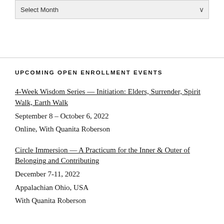[Figure (other): Select Month dropdown widget]
UPCOMING OPEN ENROLLMENT EVENTS
4-Week Wisdom Series — Initiation: Elders, Surrender, Spirit Walk, Earth Walk
September 8 – October 6, 2022
Online, With Quanita Roberson
Circle Immersion — A Practicum for the Inner & Outer of Belonging and Contributing
December 7-11, 2022
Appalachian Ohio, USA
With Quanita Roberson